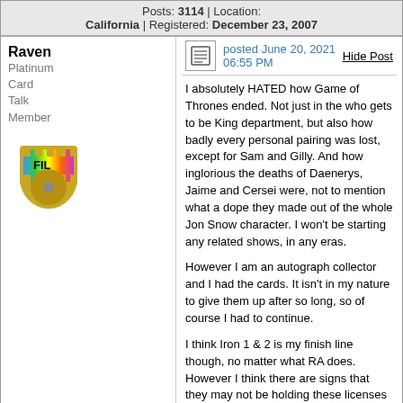Posts: 3114 | Location: California | Registered: December 23, 2007
Raven
Platinum Card Talk Member
posted June 20, 2021 06:55 PM
I absolutely HATED how Game of Thrones ended. Not just in the who gets to be King department, but also how badly every personal pairing was lost, except for Sam and Gilly. And how inglorious the deaths of Daenerys, Jaime and Cersei were, not to mention what a dope they made out of the whole Jon Snow character. I won't be starting any related shows, in any eras.

However I am an autograph collector and I had the cards. It isn't in my nature to give them up after so long, so of course I had to continue.

I think Iron 1 & 2 is my finish line though, no matter what RA does. However I think there are signs that they may not be holding these licenses anymore. I have no information, just a feeling. The print run of 18,000 boxes, with probably another 18,000 to follow in only 4 or 5 months is enormous. What can be left unreleased in the vault? The inscriptions have to cost more money to acquire, but it doesn't mean value to collectors unless its a good line and a decent autograph. Also RA has made a huge commitment to Doctor Who and will still be cranking out Star Trek shows, with maybe Umbrella Academy, Twilight Zone and Twin Peaks.